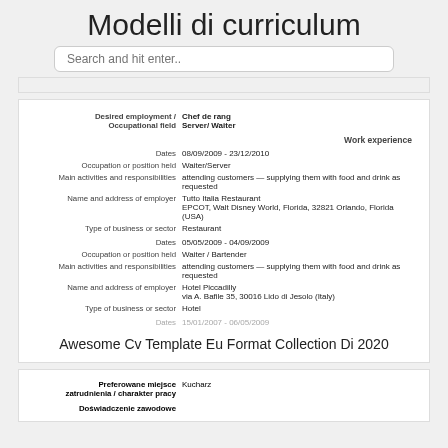Modelli di curriculum
Search and hit enter..
| Desired employment / Occupational field | Chef de rang
Server/ Waiter |
| Work experience |  |
| Dates | 08/09/2009 - 23/12/2010 |
| Occupation or position held | Waiter/Server |
| Main activities and responsibilities | attending customers — supplying them with food and drink as requested |
| Name and address of employer | Tutto Italia Restaurant
EPCOT, Walt Disney World, Florida, 32821 Orlando, Florida (USA) |
| Type of business or sector | Restaurant |
| Dates | 05/05/2009 - 04/09/2009 |
| Occupation or position held | Waiter / Bartender |
| Main activities and responsibilities | attending customers — supplying them with food and drink as requested |
| Name and address of employer | Hotel Piccadilly
via A. Bafile 35, 30016 Lido di Jesolo (Italy) |
| Type of business or sector | Hotel |
| Dates | 15/01/2007 - 06/05/2009 |
Awesome Cv Template Eu Format Collection Di 2020
| Preferowane miejsce zatrudnienia / charakter pracy | Kucharz |
| Doświadczenie zawodowe |  |